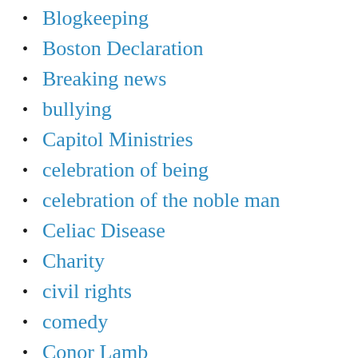Blogkeeping
Boston Declaration
Breaking news
bullying
Capitol Ministries
celebration of being
celebration of the noble man
Celiac Disease
Charity
civil rights
comedy
Conor Lamb
court evangelical
COVID-19
COVIDGrace
Crime
Critical Race Th…